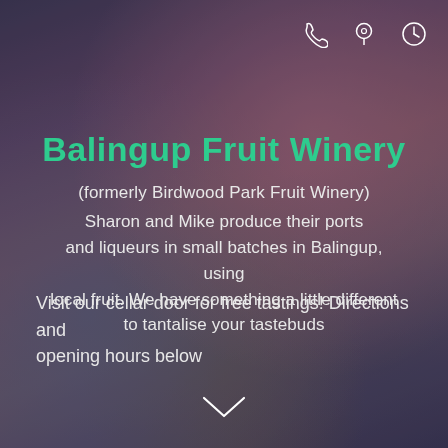[Figure (infographic): Three white outline icons in the top-right corner: phone/handset icon, location pin icon, clock/time icon]
Balingup Fruit Winery
(formerly Birdwood Park Fruit Winery)
Sharon and Mike produce their ports and liqueurs in small batches in Balingup, using local fruit. We have something a little different to tantalise your tastebuds
Visit our cellar door for free tastings! Directions and opening hours below
[Figure (illustration): White chevron/down-arrow icon pointing downward]